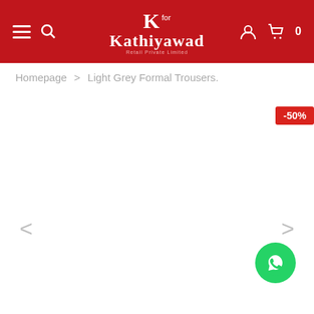K for Kathiyawad – navigation header with hamburger, search, logo, account, cart (0)
Homepage > Light Grey Formal Trousers.
[Figure (other): Product image area (blank/white) with -50% discount badge]
[Figure (other): WhatsApp floating action button (green circle with WhatsApp icon)]